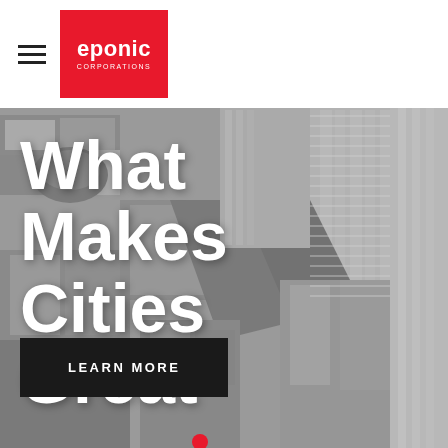eponic CORPORATIONS
[Figure (photo): Aerial view of a dense urban downtown cityscape with tall office buildings, streets, and city blocks photographed from above]
What Makes Cities Great
LEARN MORE